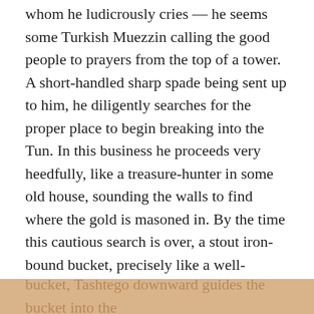whom he ludicrously cries — he seems some Turkish Muezzin calling the good people to prayers from the top of a tower. A short-handled sharp spade being sent up to him, he diligently searches for the proper place to begin breaking into the Tun. In this business he proceeds very heedfully, like a treasure-hunter in some old house, sounding the walls to find where the gold is masoned in. By the time this cautious search is over, a stout iron-bound bucket, precisely like a well-bucket, has been attached to one end of the whip; while the other end, being stretched across the deck, is there held by two or three alert hands. These last now hoist the bucket within grasp of the Indian, to whom another person has reached up a very long pole. Inserting this pole into the
bucket, Tashtego downward guides the bucket into the